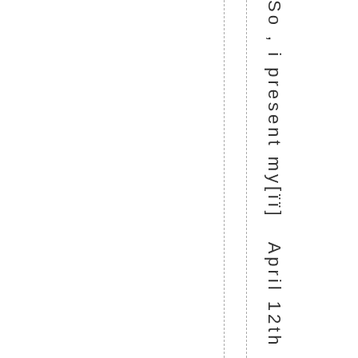So , i present my[ïï]   April 12th